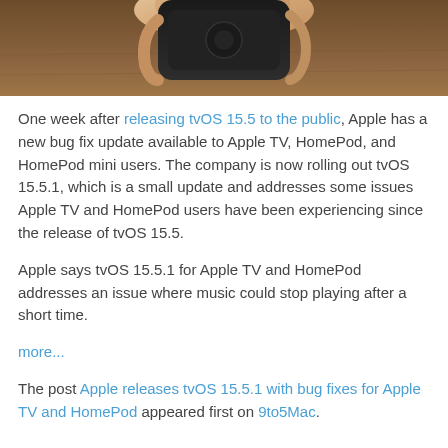[Figure (photo): A hand holding a dark Apple TV remote or device against a wooden surface background, partially cropped at top of page.]
One week after releasing tvOS 15.5 to the public, Apple has a new bug fix update available to Apple TV, HomePod, and HomePod mini users. The company is now rolling out tvOS 15.5.1, which is a small update and addresses some issues Apple TV and HomePod users have been experiencing since the release of tvOS 15.5.
Apple says tvOS 15.5.1 for Apple TV and HomePod addresses an issue where music could stop playing after a short time.
more...
The post Apple releases tvOS 15.5.1 with bug fixes for Apple TV and HomePod appeared first on 9to5Mac.